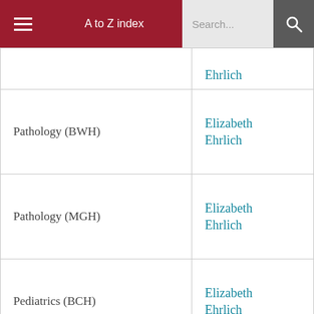A to Z index | Search...
| Department | Contact |
| --- | --- |
|  | Ehrlich |
| Pathology (BWH) | Elizabeth Ehrlich |
| Pathology (MGH) | Elizabeth Ehrlich |
| Pediatrics (BCH) | Elizabeth Ehrlich |
| Pediatrics (MGH) | Elizabeth Ehrlich |
| Physical Medicine and Rehabilitation | Steven Anzalone |
| Reproductive Medicine |  |